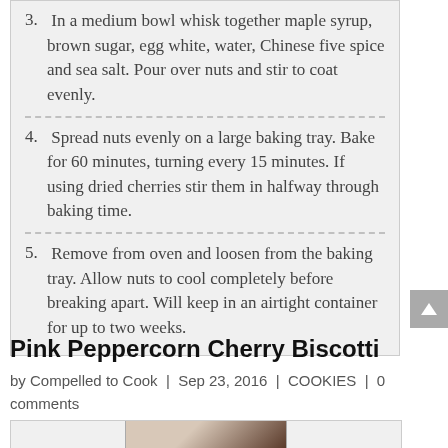3. In a medium bowl whisk together maple syrup, brown sugar, egg white, water, Chinese five spice and sea salt. Pour over nuts and stir to coat evenly.
4. Spread nuts evenly on a large baking tray. Bake for 60 minutes, turning every 15 minutes. If using dried cherries stir them in halfway through baking time.
5. Remove from oven and loosen from the baking tray. Allow nuts to cool completely before breaking apart. Will keep in an airtight container for up to two weeks.
Pink Peppercorn Cherry Biscotti
by Compelled to Cook | Sep 23, 2016 | COOKIES | 0 comments
[Figure (photo): Partial view of biscotti photo at bottom of page]